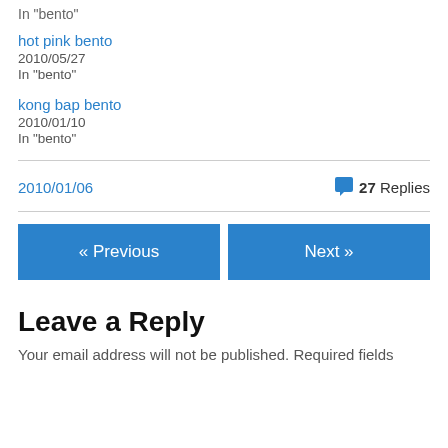In "bento"
hot pink bento
2010/05/27
In "bento"
kong bap bento
2010/01/10
In "bento"
2010/01/06
27 Replies
« Previous
Next »
Leave a Reply
Your email address will not be published. Required fields